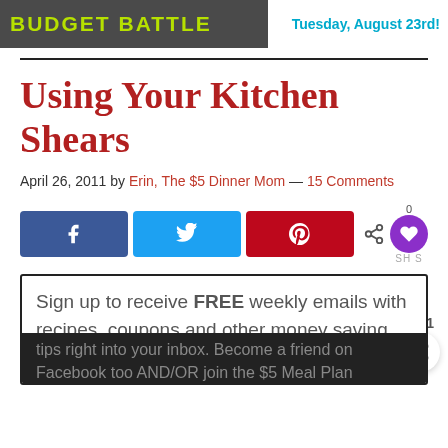BUDGET BATTLE   Tuesday, August 23rd!
Using Your Kitchen Shears
April 26, 2011 by Erin, The $5 Dinner Mom — 15 Comments
[Figure (infographic): Social share buttons: Facebook, Twitter, Pinterest, share icon with 0 count and heart icon, and a share button with count 1]
Sign up to receive FREE weekly emails with recipes, coupons and other money saving tips right into your inbox. Become a friend on Facebook too AND/OR join the $5 Meal Plan